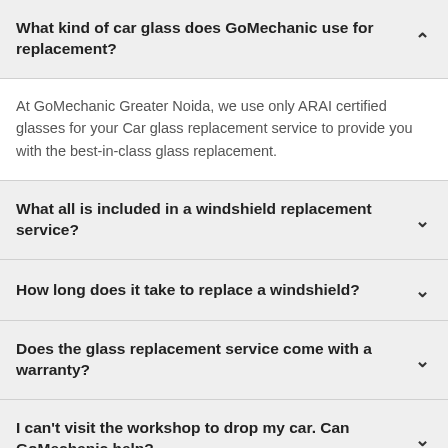What kind of car glass does GoMechanic use for replacement?
At GoMechanic Greater Noida, we use only ARAI certified glasses for your Car glass replacement service to provide you with the best-in-class glass replacement.
What all is included in a windshield replacement service?
How long does it take to replace a windshield?
Does the glass replacement service come with a warranty?
I can't visit the workshop to drop my car. Can GoMechanic help?